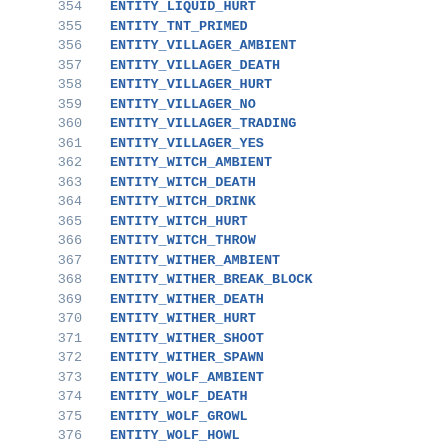354 ENTITY_LIQUID_HURT (partial, top cut off)
355 ENTITY_TNT_PRIMED
356 ENTITY_VILLAGER_AMBIENT
357 ENTITY_VILLAGER_DEATH
358 ENTITY_VILLAGER_HURT
359 ENTITY_VILLAGER_NO
360 ENTITY_VILLAGER_TRADING
361 ENTITY_VILLAGER_YES
362 ENTITY_WITCH_AMBIENT
363 ENTITY_WITCH_DEATH
364 ENTITY_WITCH_DRINK
365 ENTITY_WITCH_HURT
366 ENTITY_WITCH_THROW
367 ENTITY_WITHER_AMBIENT
368 ENTITY_WITHER_BREAK_BLOCK
369 ENTITY_WITHER_DEATH
370 ENTITY_WITHER_HURT
371 ENTITY_WITHER_SHOOT
372 ENTITY_WITHER_SPAWN
373 ENTITY_WOLF_AMBIENT
374 ENTITY_WOLF_DEATH
375 ENTITY_WOLF_GROWL
376 ENTITY_WOLF_HOWL